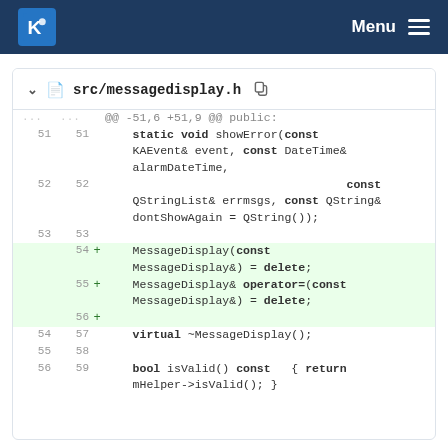KDE Menu
src/messagedisplay.h
@@ -51,6 +51,9 @@ public:
51 51     static void showError(const KAEvent& event, const DateTime& alarmDateTime,
52 52                                            const QStringList& errmsgs, const QString& dontShowAgain = QString());
53 53
  54 +     MessageDisplay(const MessageDisplay&) = delete;
  55 +     MessageDisplay& operator=(const MessageDisplay&) = delete;
  56 +
54 57     virtual ~MessageDisplay();
55 58
56 59     bool isValid() const   { return mHelper->isValid(); }